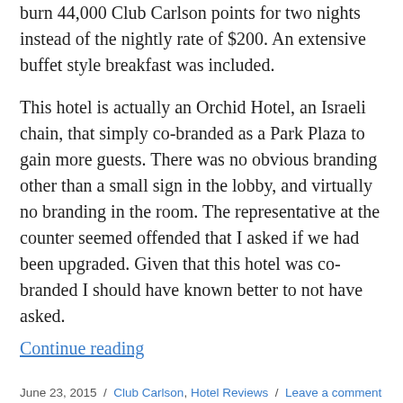burn 44,000 Club Carlson points for two nights instead of the nightly rate of $200. An extensive buffet style breakfast was included.
This hotel is actually an Orchid Hotel, an Israeli chain, that simply co-branded as a Park Plaza to gain more guests. There was no obvious branding other than a small sign in the lobby, and virtually no branding in the room. The representative at the counter seemed offended that I asked if we had been upgraded. Given that this hotel was co-branded I should have known better to not have asked.
Continue reading
June 23, 2015 / Club Carlson, Hotel Reviews / Leave a comment